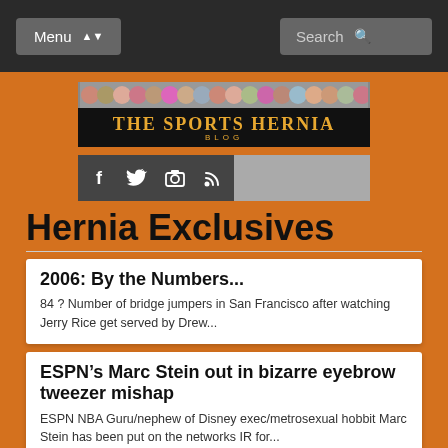Menu | Search
[Figure (logo): The Sports Hernia Blog logo with faces banner]
[Figure (infographic): Social media icons bar: Facebook, Twitter, Instagram, RSS]
Hernia Exclusives
2006: By the Numbers...
84 ? Number of bridge jumpers in San Francisco after watching Jerry Rice get served by Drew...
ESPN’s Marc Stein out in bizarre eyebrow tweezer mishap
ESPN NBA Guru/nephew of Disney exec/metrosexual hobbit Marc Stein has been put on the networks IR for...